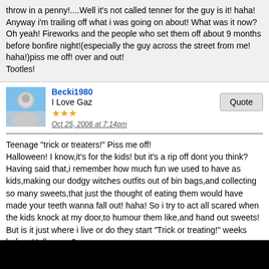throw in a penny!....Well it's not called tenner for the guy is it! haha! Anyway i'm trailing off what i was going on about! What was it now? Oh yeah! Fireworks and the people who set them off about 9 months before bonfire night!(especially the guy across the street from me! haha!)piss me off! over and out!
Tootles!
Becki1980
I Love Gaz
Oct 25, 2006 at 7:14pm
Teenage "trick or treaters!" Piss me off!
Halloween! I know,it's for the kids! but it's a rip off dont you think?
Having said that,i remember how much fun we used to have as kids,making our dodgy witches outfits out of bin bags,and collecting so many sweets,that just the thought of eating them would have made your teeth wanna fall out! haha! So i try to act all scared when the kids knock at my door,to humour them like,and hand out sweets! But is it just where i live or do they start "Trick or treating!" weeks before Halloween?
I had a group of youth's(ha! youths! i sound like my nana! haha!)knock at my door last night!
I would'nt have minded so much,if they had made an effort to dress up or look even a bit scary,but not a bin bag in sight! haha! Anyway they said the trick or treat thing and i said "Trick!" they looked at me like i had three